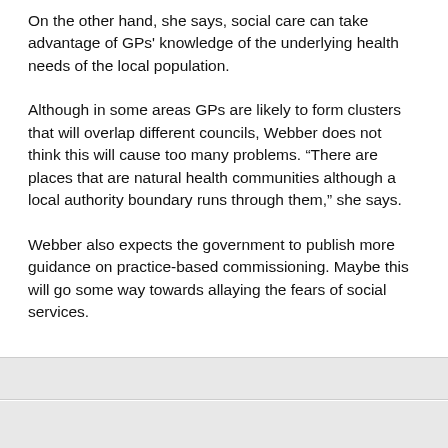On the other hand, she says, social care can take advantage of GPs' knowledge of the underlying health needs of the local population.
Although in some areas GPs are likely to form clusters that will overlap different councils, Webber does not think this will cause too many problems. “There are places that are natural health communities although a local authority boundary runs through them,” she says.
Webber also expects the government to publish more guidance on practice-based commissioning. Maybe this will go some way towards allaying the fears of social services.